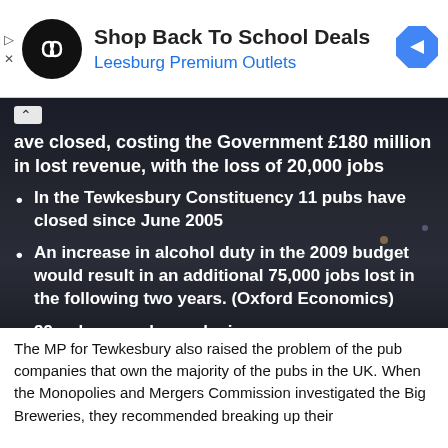[Figure (other): Advertisement banner for Leesburg Premium Outlets with logo, title 'Shop Back To School Deals', and navigation arrow icon]
have closed, costing the Government £180 million in lost revenue, with the loss of 20,000 jobs
In the Tewkesbury Constituency 11 pubs have closed since June 2005
An increase in alcohol duty in the 2009 budget would result in an additional 75,000 jobs lost in the following two years. (Oxford Economics)
39 pubs a week are closing
The MP for Tewkesbury also raised the problem of the pub companies that own the majority of the pubs in the UK. When the Monopolies and Mergers Commission investigated the Big Breweries, they recommended breaking up their